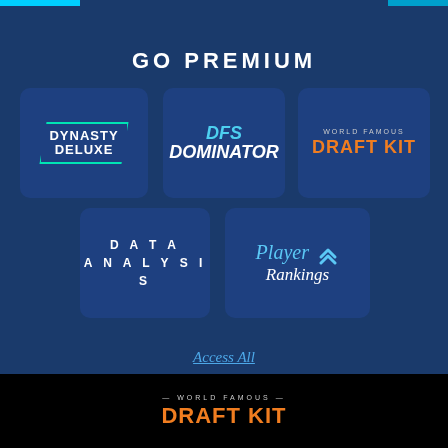GO PREMIUM
[Figure (logo): Dynasty Deluxe logo in teal bordered trapezoid shape]
[Figure (logo): DFS Dominator logo in white and cyan italic bold text]
[Figure (logo): World Famous Draft Kit logo with orange text]
[Figure (logo): Data Analysis logo in white spaced uppercase text]
[Figure (logo): Player Rankings logo with blue italic Player text and white Rankings]
Access All
[Figure (logo): World Famous Draft Kit logo large on black background]